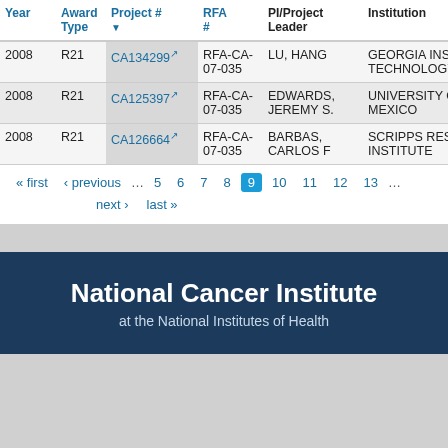| Year | Award Type | Project # | RFA # | PI/Project Leader | Institution |
| --- | --- | --- | --- | --- | --- |
| 2008 | R21 | CA134299 | RFA-CA-07-035 | LU, HANG | GEORGIA INSTITUTE TECHNOLOGY |
| 2008 | R21 | CA125397 | RFA-CA-07-035 | EDWARDS, JEREMY S. | UNIVERSITY OF NEW MEXICO |
| 2008 | R21 | CA126664 | RFA-CA-07-035 | BARBAS, CARLOS F | SCRIPPS RESEARCH INSTITUTE |
« first ‹ previous … 5 6 7 8 9 10 11 12 13 … next › last »
[Figure (logo): National Cancer Institute at the National Institutes of Health footer logo on dark navy background]